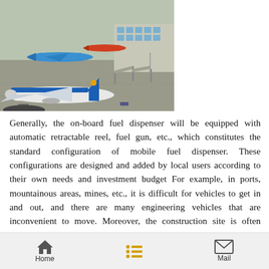[Figure (photo): Aerial view of airport tarmac with several airplanes including a prominent China Southern Airlines aircraft in foreground, terminal building with jet bridges visible, and other aircraft in background.]
Generally, the on-board fuel dispenser will be equipped with automatic retractable reel, fuel gun, etc., which constitutes the standard configuration of mobile fuel dispenser. These configurations are designed and added by local users according to their own needs and investment budget For example, in ports, mountainous areas, mines, etc., it is difficult for vehicles to get in and out, and there are many engineering vehicles that are inconvenient to move. Moreover, the construction site is often located in
Home  Mail